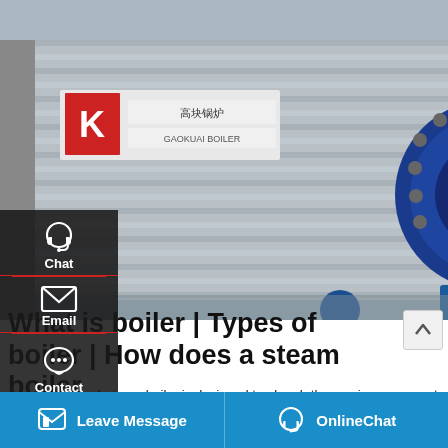[Figure (photo): Industrial steam boiler unit with blue cylindrical front burner assembly mounted on a large rectangular metallic body. A black metal staircase is visible on the right side, with yellow pipes and blue valve fittings. A sign with Chinese characters is visible on the upper left of the boiler body.]
Chat
Email
Contact
What is boiler | Types of boiler | How does a steam boiler
Jan 15, 2019 · A steam boiler is designed to absorb the maximum amount of heat released from the process of combustion. There are three way (Radiation, convection &
Leave Message
OnlineChat